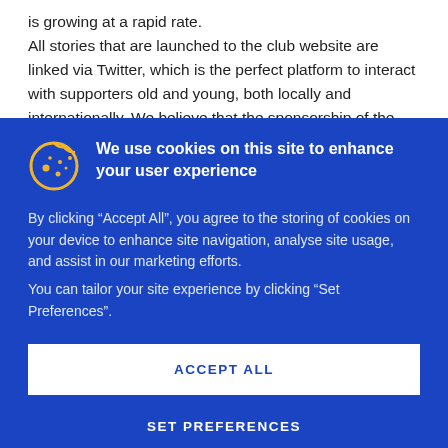is growing at a rapid rate. All stories that are launched to the club website are linked via Twitter, which is the perfect platform to interact with supporters old and young, both locally and internationally. We believe that the sponsorship of the official Posh
We use cookies on this site to enhance your user experience
By clicking “Accept All”, you agree to the storing of cookies on your device to enhance site navigation, analyse site usage, and assist in our marketing efforts.
You can tailor your site experience by clicking “Set Preferences”.
ACCEPT ALL
SET PREFERENCES